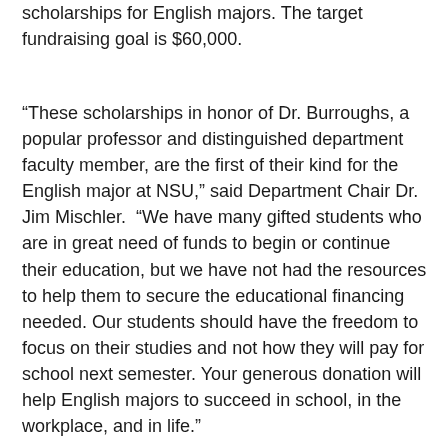scholarships for English majors. The target fundraising goal is $60,000.
“These scholarships in honor of Dr. Burroughs, a popular professor and distinguished department faculty member, are the first of their kind for the English major at NSU,” said Department Chair Dr. Jim Mischler. “We have many gifted students who are in great need of funds to begin or continue their education, but we have not had the resources to help them to secure the educational financing needed. Our students should have the freedom to focus on their studies and not how they will pay for school next semester. Your generous donation will help English majors to succeed in school, in the workplace, and in life.”